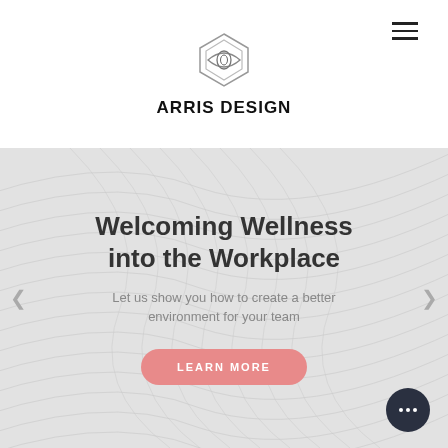[Figure (logo): Arris Design geometric logo — concentric diamond/eye shapes in grey]
ARRIS DESIGN
[Figure (infographic): Hero banner with diagonal white wave/line texture background. Contains heading 'Welcoming Wellness into the Workplace', subtext 'Let us show you how to create a better environment for your team', a salmon/pink 'LEARN MORE' button, left and right navigation arrows, and a dark circular button with three dots.]